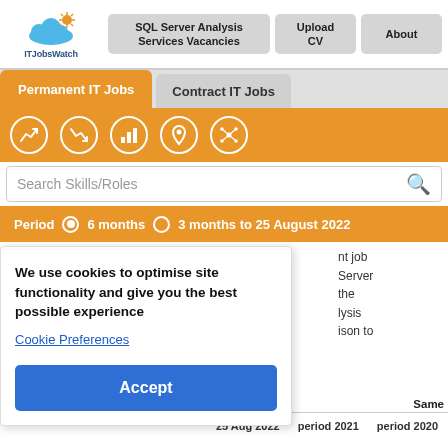[Figure (logo): ITJobsWatch logo with cloud and sun icon above the text ITJobsWatch]
SQL Server Analysis Services Vacancies | Upload CV | About
Permanent IT Jobs | Contract IT Jobs
[Figure (infographic): Orange navigation icon bar with 5 circular white icons: trend/chart, comparison chart, bar chart, location pin, network/hub]
Search Skills/Roles
Period  ◉ 6 months  ○ 3 months to 25 August 2022
We use cookies to optimise site functionality and give you the best possible experience
Cookie Preferences
Accept
nt job
Server
the
lysis
ison to
Same
25 Aug 2022   period 2021   period 2020